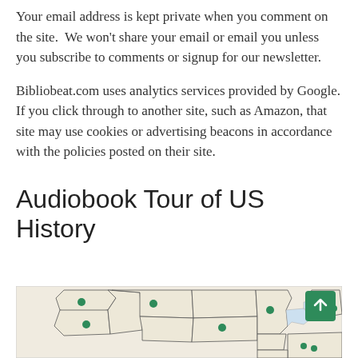Your email address is kept private when you comment on the site.  We won't share your email or email you unless you subscribe to comments or signup for our newsletter.
Bibliobeat.com uses analytics services provided by Google. If you click through to another site, such as Amazon, that site may use cookies or advertising beacons in accordance with the policies posted on their site.
Audiobook Tour of US History
[Figure (map): Partial map of the United States with green dot markers indicating locations, shown on a light beige background with state outlines.]